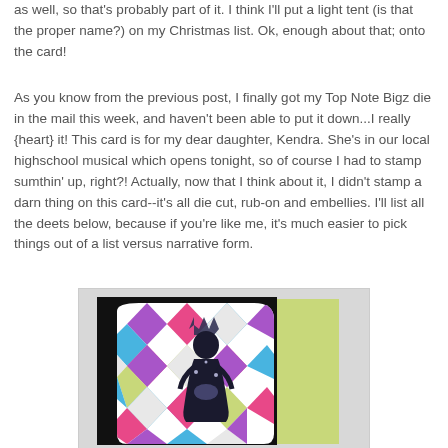as well, so that's probably part of it. I think I'll put a light tent (is that the proper name?) on my Christmas list. Ok, enough about that; onto the card!
As you know from the previous post, I finally got my Top Note Bigz die in the mail this week, and haven't been able to put it down...I really {heart} it! This card is for my dear daughter, Kendra. She's in our local highschool musical which opens tonight, so of course I had to stamp sumthin' up, right?! Actually, now that I think about it, I didn't stamp a darn thing on this card--it's all die cut, rub-on and embellies. I'll list all the deets below, because if you're like me, it's much easier to pick things out of a list versus narrative form.
[Figure (photo): A handmade card featuring a harlequin diamond pattern in purple, pink, blue, green colors with a black silhouette figure wearing a crown, mounted on black cardstock with a light green background layer.]